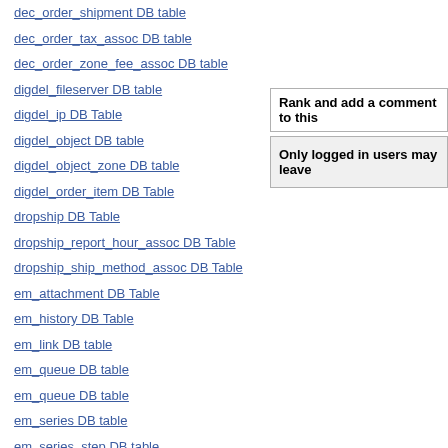dec_order_shipment DB table
dec_order_tax_assoc DB table
dec_order_zone_fee_assoc DB table
digdel_fileserver DB table
digdel_ip DB Table
digdel_object DB table
digdel_object_zone DB table
digdel_order_item DB Table
dropship DB Table
dropship_report_hour_assoc DB Table
dropship_ship_method_assoc DB Table
em_attachment DB Table
em_history DB Table
em_link DB table
em_queue DB table
em_queue DB table
em_series DB table
em_series_step DB table
em_template DB table
event_ignore DB table
Rank and add a comment to this
Only logged in users may leave